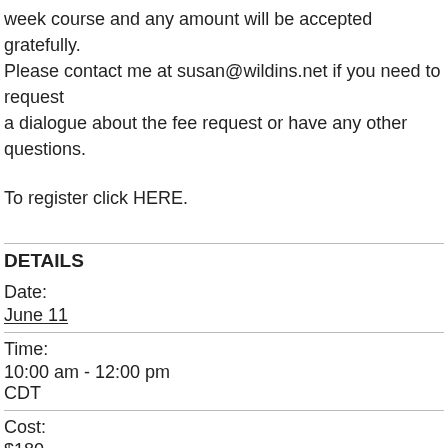week course and any amount will be accepted gratefully. Please contact me at susan@wildins.net if you need to request a dialogue about the fee request or have any other questions.
To register click HERE.
DETAILS
Date:
June 11
Time:
10:00 am - 12:00 pm
CDT
Cost:
$180
Event Type: